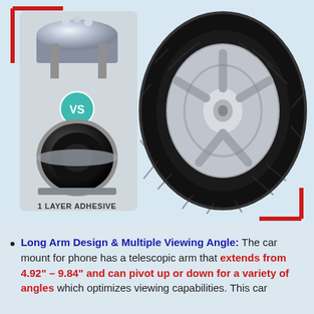[Figure (illustration): Two suction cup mount types labeled '1 LAYER ADHESIVE' shown with a VS badge between them, next to a car tire/wheel illustration. Red L-bracket decorative corners on the image area.]
Long Arm Design & Multiple Viewing Angle: The car mount for phone has a telescopic arm that extends from 4.92" – 9.84" and can pivot up or down for a variety of angles which optimizes viewing capabilities. This car